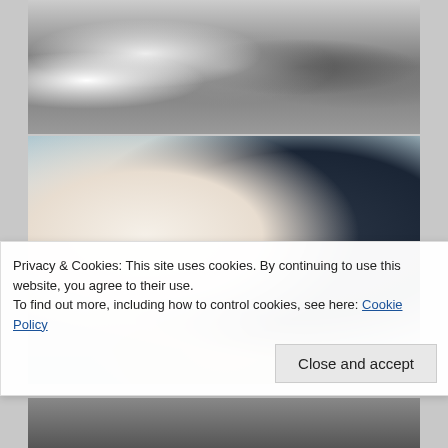[Figure (photo): Black and white wedding ceremony photo showing bridesmaids in dark dresses on the left, a bride in a white dress, and groomsmen in dark suits on the right. Multiple people are gathered indoors near large windows.]
[Figure (photo): Color close-up wedding photo showing a bride in a white lace dress and a groom in a dark navy suit holding hands during the ceremony. A third person (officiant) is visible holding a book/tablet in the background.]
Privacy & Cookies: This site uses cookies. By continuing to use this website, you agree to their use.
To find out more, including how to control cookies, see here: Cookie Policy
[Figure (photo): Partial view of a wedding reception or ceremony scene at the bottom of the page, partially obscured by the cookie banner.]